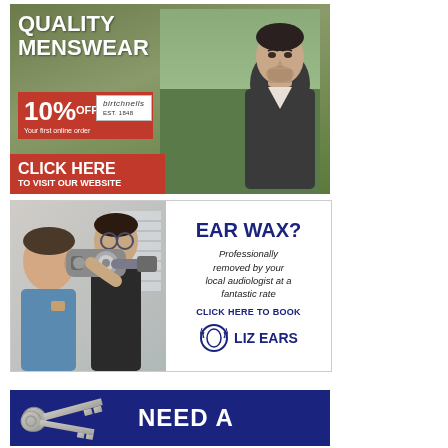[Figure (advertisement): Quality Menswear advertisement. Large bold white text reads 'QUALITY MENSWEAR'. Red banner shows '10% OFF Your first online order' with Birtchnells logo. Red CTA button reads 'CLICK HERE TO VISIT OUR WEBSITE'. Photo of a man in a grey v-neck sweater on a green background.]
[Figure (advertisement): Ear Wax removal advertisement. Left half shows clinical photo of audiologist performing ear wax removal. Right half on white background reads 'EAR WAX?' in large blue bold text, then 'Professionally removed by your local audiologist at a fantastic rate', 'CLICK HERE TO BOOK', and 'LIZ EARS' logo with ear icon.]
[Figure (advertisement): Partial advertisement on dark blue background showing keys and beginning of text 'NEED A...' (cropped at bottom of page).]